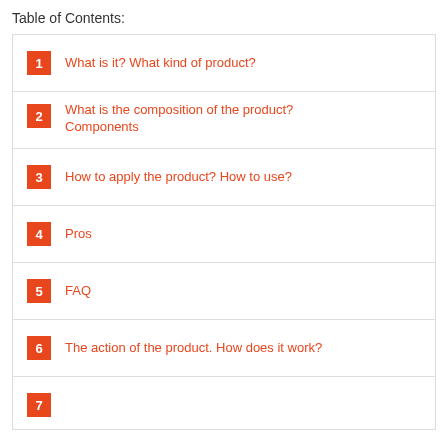Table of Contents:
1 What is it? What kind of product?
2 What is the composition of the product? Components
3 How to apply the product? How to use?
4 Pros
5 FAQ
6 The action of the product. How does it work?
7 (partially visible)